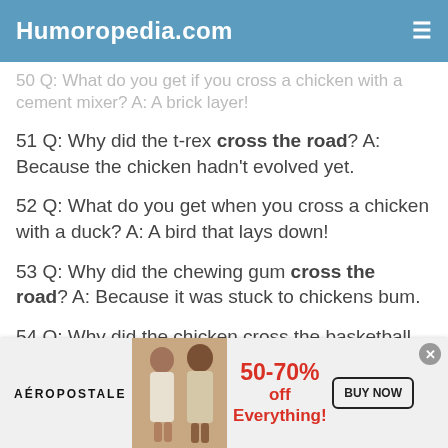Humoropedia.com
50 Q: What do you get if you cross a chicken with a cement mixer? A: A brick layer!
51 Q: Why did the t-rex cross the road? A: Because the chicken hadn't evolved yet.
52 Q: What do you get when you cross a chicken with a duck? A: A bird that lays down!
53 Q: Why did the chewing gum cross the road? A: Because it was stuck to chickens bum.
54 Q: Why did the chicken cross the basketball court? A: He heard the referee calling fowls
[Figure (infographic): Aeropostale advertisement banner: 50-70% off Everything! BUY NOW]